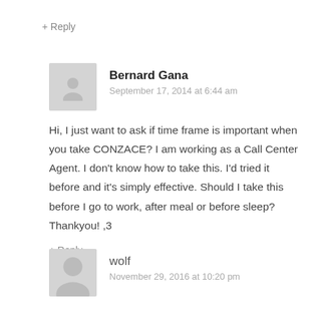+ Reply
Bernard Gana
September 17, 2014 at 6:44 am
Hi, I just want to ask if time frame is important when you take CONZACE? I am working as a Call Center Agent. I don't know how to take this. I'd tried it before and it's simply effective. Should I take this before I go to work, after meal or before sleep? Thankyou! ,3
+ Reply
wolf
November 29, 2016 at 10:20 pm